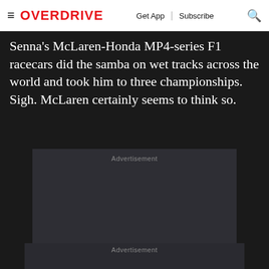OVERDRIVE | Get App | Subscribe
Senna's McLaren-Honda MP4-series F1 racecars did the samba on wet tracks across the world and took him to three championships. Sigh. McLaren certainly seems to think so.
[Figure (other): Advertisement placeholder box 1]
[Figure (other): Advertisement placeholder box 2]